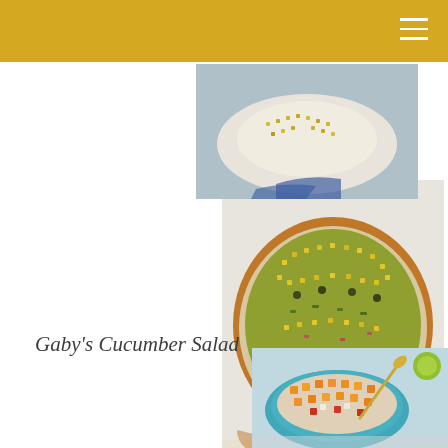[Figure (photo): Top food photo showing a plate with corn salad or similar dish, white plate with blue accent]
[Figure (photo): Middle food photo showing a large bowl of Gaby's Cucumber Salad with corn and green herbs in a terracotta bowl]
Gaby’s Cucumber Salad
[Figure (photo): Bottom food photo showing a teal bowl with Jessica’s Marinated Chickpeas with colorful chopped vegetables and a gold spoon, with lime on the side]
Jessica’s Marinated Chickpeas